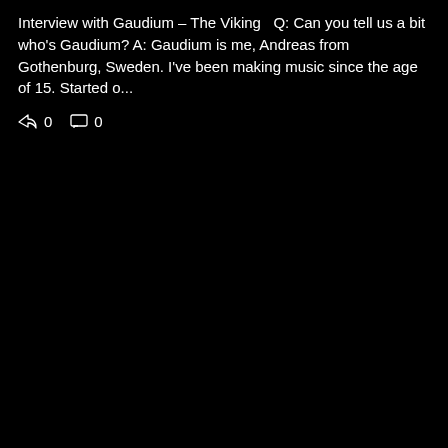Interview with Gaudium – The Viking   Q: Can you tell us a bit who's Gaudium? A: Gaudium is me, Andreas from Gothenburg, Sweden. I've been making music since the age of 15. Started o...
0   0